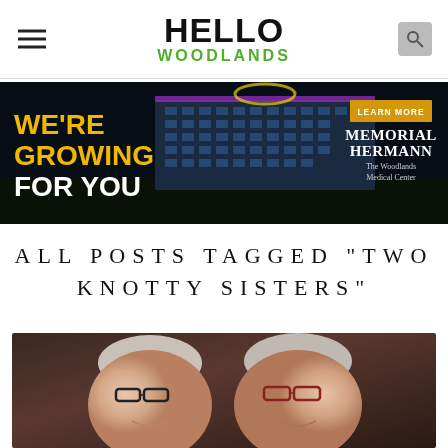HELLO WOODLANDS
[Figure (photo): Memorial Hermann The Woodlands Medical Center advertisement banner. Dark background with illuminated hospital building at night. Text: WE'RE GROWING FOR YOU (gold and white). LEARN MORE button. Memorial Hermann The Woodlands Medical Center logo.]
ALL POSTS TAGGED "TWO KNOTTY SISTERS"
[Figure (photo): Two women with short gray/white hair and glasses smiling at the camera, posed closely together.]